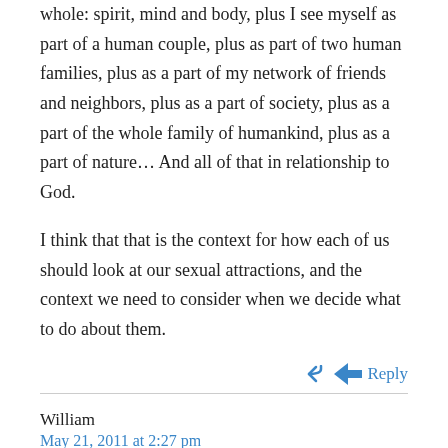whole: spirit, mind and body, plus I see myself as part of a human couple, plus as part of two human families, plus as a part of my network of friends and neighbors, plus as a part of society, plus as a part of the whole family of humankind, plus as a part of nature… And all of that in relationship to God.
I think that that is the context for how each of us should look at our sexual attractions, and the context we need to consider when we decide what to do about them.
↩ Reply
William
May 21, 2011 at 2:27 pm
David,